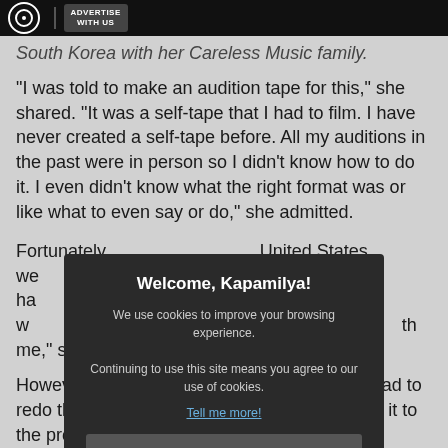ADVERTISE WITH US
South Korea with her Careless Music family.
"I was told to make an audition tape for this," she shared. "It was a self-tape that I had to film. I have never created a self-tape before. All my auditions in the past were in person so I didn't know how to do it. I even didn't know what the right format was or like what to even say or do," she admitted.
Fortunately, [partially obscured] United States we[re] [obscured] ect, as they helped ha[ve] [obscured] s. "I filmed it when I w[as] [obscured] Jeff (Oh) and he wa[s] [obscured] th me," she added.
[Figure (screenshot): Cookie consent modal dialog with title 'Welcome, Kapamilya!', body text about cookies, a 'Tell me more!' link, and an 'I AGREE!' button.]
However, t[obscured] thly, and they had to redo the entire audition tape before submitting it to the production team.